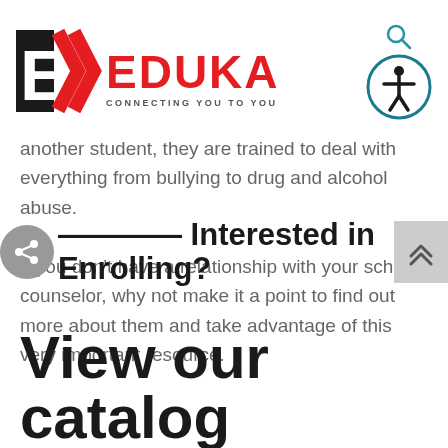[Figure (logo): EduKan logo with red chevron and tagline 'Connecting you to your future']
another student, they are trained to deal with everything from bullying to drug and alcohol abuse.
If you don't have a relationship with your school counselor, why not make it a point to find out more about them and take advantage of this very important resource.
Interested in Enrolling?
View our catalog